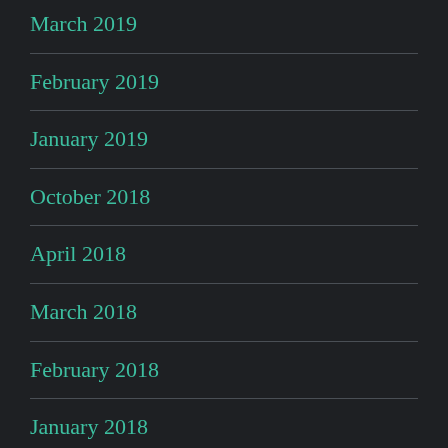March 2019
February 2019
January 2019
October 2018
April 2018
March 2018
February 2018
January 2018
October 2017